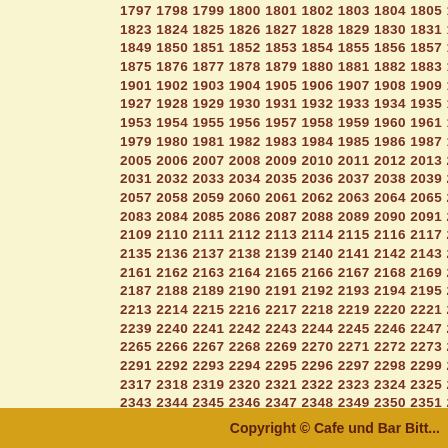1797 1798 1799 1800 1801 1802 1803 1804 1805 1806 1807 ... 2525 2526 2527 2528 2529 2530 2531 2532 2533 ...
Copyright © Cafe und Bar Bitt...